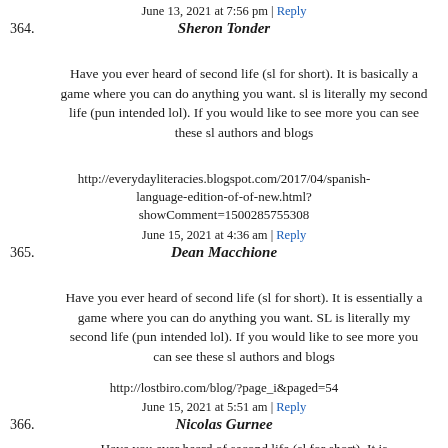June 13, 2021 at 7:56 pm | Reply
364. Sheron Tonder
Have you ever heard of second life (sl for short). It is basically a game where you can do anything you want. sl is literally my second life (pun intended lol). If you would like to see more you can see these sl authors and blogs
http://everydayliteracies.blogspot.com/2017/04/spanish-language-edition-of-of-new.html?showComment=1500285755308
June 15, 2021 at 4:36 am | Reply
365. Dean Macchione
Have you ever heard of second life (sl for short). It is essentially a game where you can do anything you want. SL is literally my second life (pun intended lol). If you would like to see more you can see these sl authors and blogs
http://lostbiro.com/blog/?page_i&paged=54
June 15, 2021 at 5:51 am | Reply
366. Nicolas Gurnee
Have you ever heard of second life (sl for short). It is